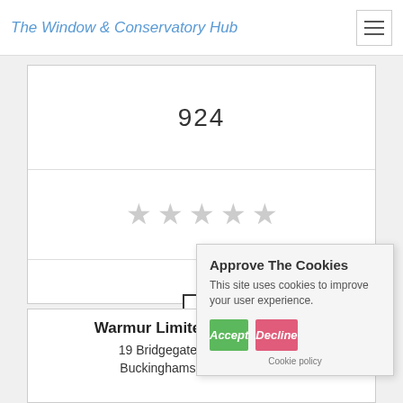The Window & Conservatory Hub
924
[Figure (other): Five empty star rating icons in light grey]
[Figure (other): Empty checkbox square]
Get a Quote
Warmur Limited (Trading... Doo...
19 Bridgegate Business Park, Buckinghamshire, HP10 9AN
Approve The Cookies
This site uses cookies to improve your user experience.
Accept
Decline
Cookie policy